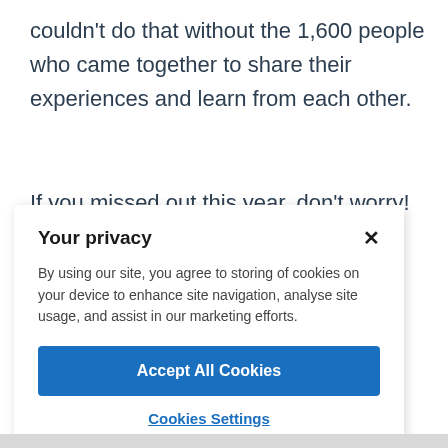couldn't do that without the 1,600 people who came together to share their experiences and learn from each other.
If you missed out this year, don't worry! Videos of
Your privacy
By using our site, you agree to storing of cookies on your device to enhance site navigation, analyse site usage, and assist in our marketing efforts.
Accept All Cookies
Cookies Settings